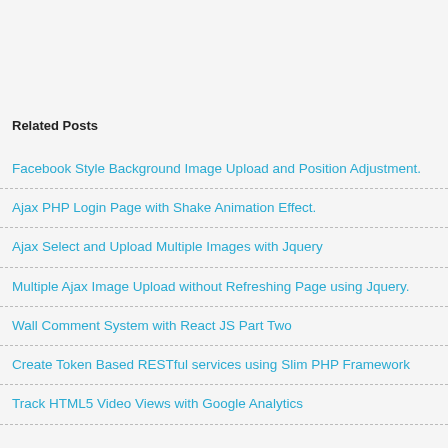Related Posts
Facebook Style Background Image Upload and Position Adjustment.
Ajax PHP Login Page with Shake Animation Effect.
Ajax Select and Upload Multiple Images with Jquery
Multiple Ajax Image Upload without Refreshing Page using Jquery.
Wall Comment System with React JS Part Two
Create Token Based RESTful services using Slim PHP Framework
Track HTML5 Video Views with Google Analytics